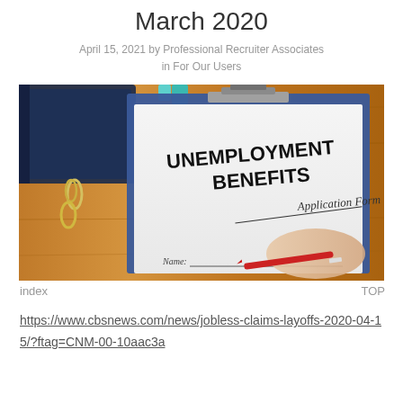March 2020
April 15, 2021 by Professional Recruiter Associates
in For Our Users
[Figure (photo): Clipboard with Unemployment Benefits Application Form being filled out with a red pen, on a wooden desk with paper clips and a notebook.]
index    TOP
https://www.cbsnews.com/news/jobless-claims-layoffs-2020-04-15/?ftag=CNM-00-10aac3a